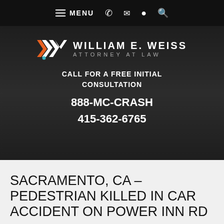MENU (navigation bar with hamburger menu, phone, email, location, search icons)
[Figure (logo): William E. Weiss Attorney at Law logo with orange/teal diamond W mark]
CALL FOR A FREE INITIAL CONSULTATION
888-MC-CRASH
415-362-6765
SACRAMENTO, CA – PEDESTRIAN KILLED IN CAR ACCIDENT ON POWER INN RD
Sacramento, CA (August 25, 2020) – A car accident